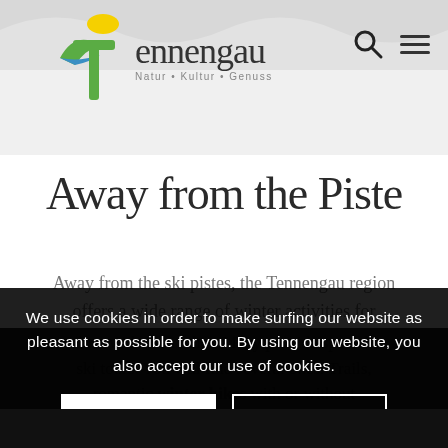[Figure (logo): Tennengau tourism logo with stylized T bird/sun graphic in green, blue and yellow, text reads 'Tennengau Natur • Kultur • Genuss']
Away from the Piste
Away from the ski pistes, the Tennengau region offers a wide range of winter activities for those seeking adventure beyond the typical ski runs. Providing several different cross-country ski tours, you will find several ones. Trails, romantic winter hikes with or without snowshoes: the rolling hills invite you to explore the beautiful faces of winter
We use cookies in order to make surfing our website as pleasant as possible for you. By using our website, you also accept our use of cookies.
Accept
Settings